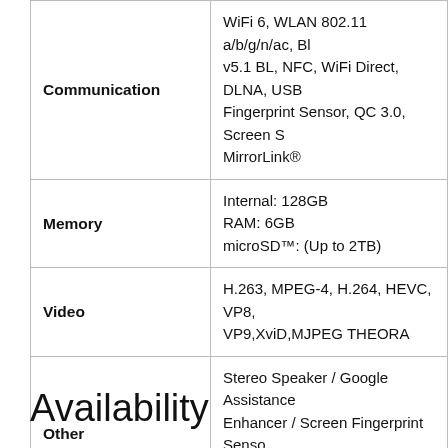| Feature | Details |
| --- | --- |
| Communication | WiFi 6, WLAN 802.11 a/b/g/n/ac, Bl…
v5.1 BL, NFC, WiFi Direct, DLNA, USB
Fingerprint Sensor, QC 3.0, Screen S…
MirrorLink® |
| Memory | Internal: 128GB
RAM: 6GB
microSD™: (Up to 2TB) |
| Video | H.263, MPEG-4, H.264, HEVC, VP8,
VP9,XviD,MJPEG THEORA |
| Other Applications | Stereo Speaker / Google Assistance…
Enhancer / Screen Fingerprint Senso…
bit Hi-Fi Quad DAC / LG AI 3D Sound…
Dual Screen*, Stylus Pen* |
Availability